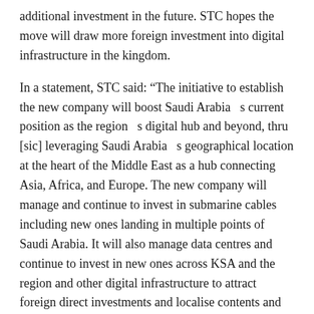additional investment in the future. STC hopes the move will draw more foreign investment into digital infrastructure in the kingdom.
In a statement, STC said: “The initiative to establish the new company will boost Saudi Arabia’s current position as the region’s digital hub and beyond, thru [sic] leveraging Saudi Arabia’s geographical location at the heart of the Middle East as a hub connecting Asia, Africa, and Europe. The new company will manage and continue to invest in submarine cables including new ones landing in multiple points of Saudi Arabia. It will also manage data centres and continue to invest in new ones across KSA and the region and other digital infrastructure to attract foreign direct investments and localise contents and cloud services to realise Saudi Arabia’s digitisation plans.”